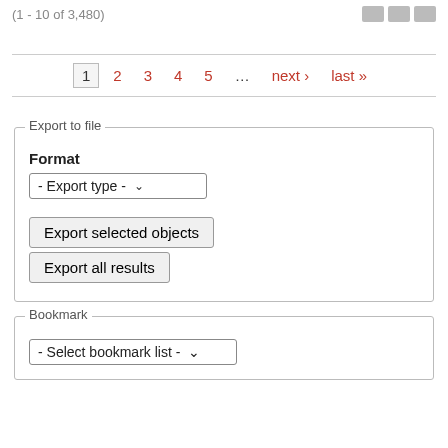(1 - 10 of 3,480)
1  2  3  4  5  …  next ›  last »
Export to file
Format
- Export type -
Export selected objects
Export all results
Bookmark
- Select bookmark list -